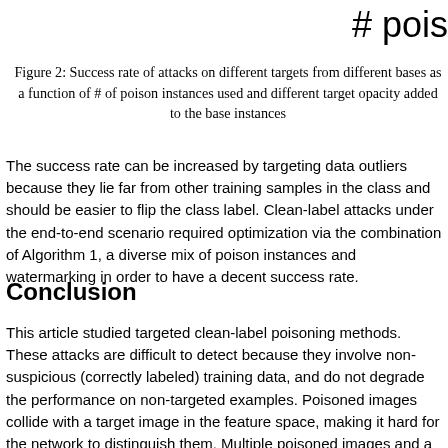# pois
Figure 2: Success rate of attacks on different targets from different bases as a function of # of poison instances used and different target opacity added to the base instances
The success rate can be increased by targeting data outliers because they lie far from other training samples in the class and should be easier to flip the class label. Clean-label attacks under the end-to-end scenario required optimization via the combination of Algorithm 1, a diverse mix of poison instances and watermarking in order to have a decent success rate.
Conclusion
This article studied targeted clean-label poisoning methods. These attacks are difficult to detect because they involve non-suspicious (correctly labeled) training data, and do not degrade the performance on non-targeted examples. Poisoned images collide with a target image in the feature space, making it hard for the network to distinguish them. Multiple poisoned images and a watermarking trick will make the attack more powerful. Our poisoned dataset training